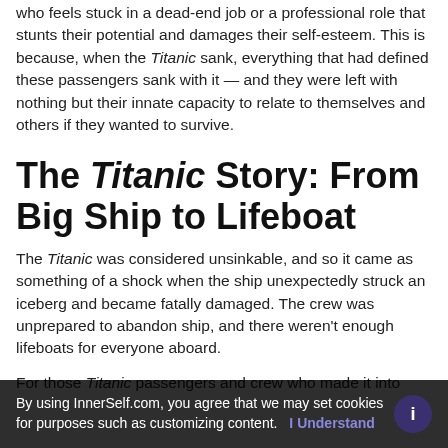who feels stuck in a dead-end job or a professional role that stunts their potential and damages their self-esteem. This is because, when the Titanic sank, everything that had defined these passengers sank with it — and they were left with nothing but their innate capacity to relate to themselves and others if they wanted to survive.
The Titanic Story: From Big Ship to Lifeboat
The Titanic was considered unsinkable, and so it came as something of a shock when the ship unexpectedly struck an iceberg and became fatally damaged. The crew was unprepared to abandon ship, and there weren't enough lifeboats for everyone aboard.
For those Titanic passengers and crew who made it into the lifeboats, they had to struggle across the Atlantic Ocean to be...
By using InnerSelf.com, you agree that we may set cookies for purposes such as customizing content. I Understand